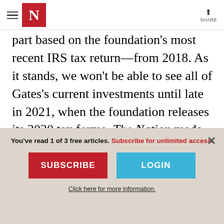The Nation — navigation header with hamburger menu, N logo, and share button
part based on the foundation's most recent IRS tax return—from 2018. As it stands, we won't be able to see all of Gates's current investments until late in 2021, when the foundation releases its 2020 tax forms. The Nation made multiple requests for up-to-date financial disclosures and tax forms from the foundation and the Gates's family but got no
You've read 1 of 3 free articles. Subscribe for unlimited access.
SUBSCRIBE
LOGIN
Click here for more information.